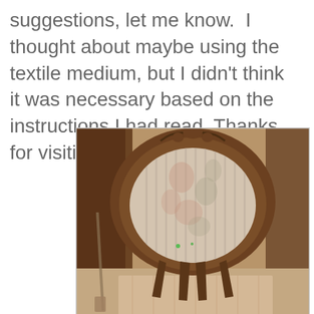suggestions, let me know.  I thought about maybe using the textile medium, but I didn't think it was necessary based on the instructions I had read. Thanks for visiting.
[Figure (photo): Photograph of an antique wooden chair viewed from behind, showing an ornately carved wood frame with a rounded oval upholstered back featuring floral and striped fabric in muted pink, green, and cream tones. The chair has decorative carved legs visible at the bottom.]